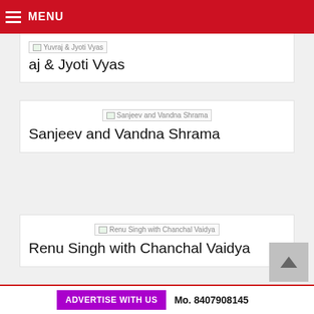MENU
[Figure (photo): Image placeholder for Yuvraj & Jyoti Vyas]
Yuvraj & Jyoti Vyas
[Figure (photo): Image placeholder for Sanjeev and Vandna Shrama]
Sanjeev and Vandna Shrama
[Figure (photo): Image placeholder for Renu Singh with Chanchal Vaidya]
Renu Singh with Chanchal Vaidya
ADVERTISE WITH US   Mo. 8407908145